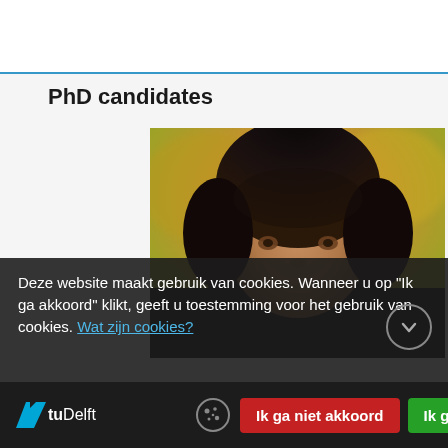PhD candidates
[Figure (photo): Portrait photo of a woman with dark curly hair against a blurred yellow-green background]
Deze website maakt gebruik van cookies. Wanneer u op “Ik ga akkoord” klikt, geeft u toestemming voor het gebruik van cookies. Wat zijn cookies?
TUDelft  |  Ik ga niet akkoord  |  Ik ga akkoord